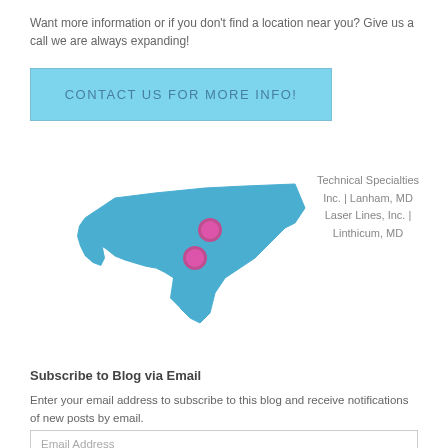Want more information or if you don't find a location near you?  Give us a call we are always expanding!
[Figure (other): Blue button with text CONTACT US FOR MORE INFO!]
[Figure (map): Map of Maryland state in blue with two pink/magenta circular markers indicating locations. Legend to the right reads: Technical Specialties Inc. | Lanham, MD Laser Lines, Inc. | Linthicum, MD]
Subscribe to Blog via Email
Enter your email address to subscribe to this blog and receive notifications of new posts by email.
Email Address